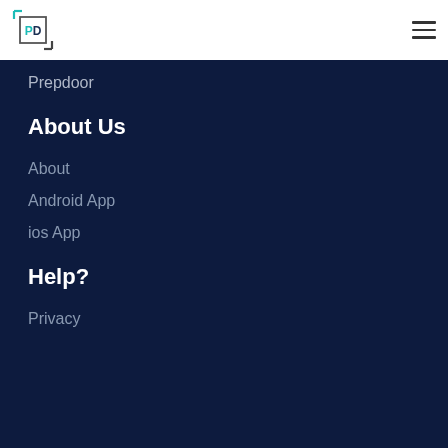PD logo and hamburger menu
Prepdoor
About Us
About
Android App
ios App
Help?
Privacy